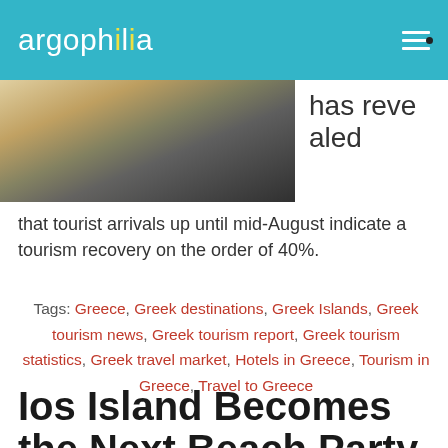argophilia
[Figure (photo): A street scene in Greece with white buildings, colorful flowers, and a person in a striped shirt against a blue background]
has revealed that tourist arrivals up until mid-August indicate a tourism recovery on the order of 40%.
Tags: Greece, Greek destinations, Greek Islands, Greek tourism news, Greek tourism report, Greek tourism statistics, Greek travel market, Hotels in Greece, Tourism in Greece, Travel to Greece
Ios Island Becomes the Next Beach Party